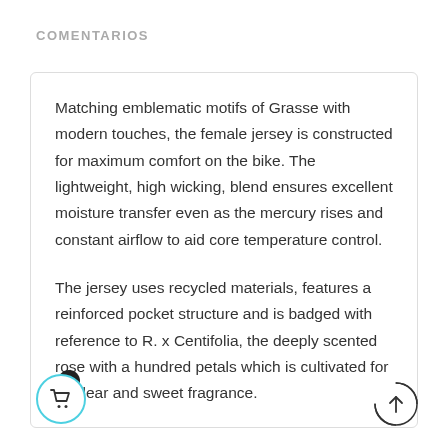COMENTARIOS
Matching emblematic motifs of Grasse with modern touches, the female jersey is constructed for maximum comfort on the bike. The lightweight, high wicking, blend ensures excellent moisture transfer even as the mercury rises and constant airflow to aid core temperature control.

The jersey uses recycled materials, features a reinforced pocket structure and is badged with reference to R. x Centifolia, the deeply scented rose with a hundred petals which is cultivated for its clear and sweet fragrance.